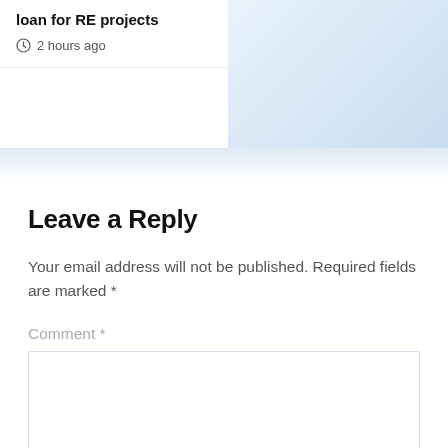loan for RE projects
2 hours ago
Leave a Reply
Your email address will not be published. Required fields are marked *
Comment *